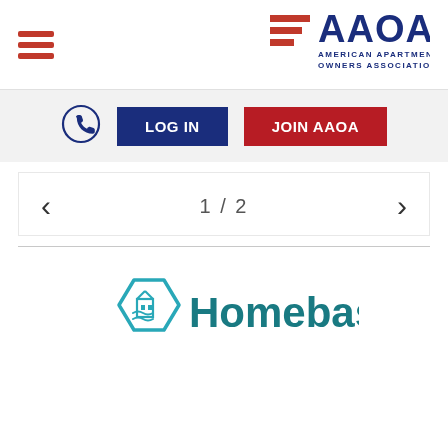[Figure (logo): Hamburger menu icon — three horizontal red bars stacked vertically]
[Figure (logo): AAOA — American Apartment Owners Association logo with red stripes and blue text]
[Figure (logo): Phone icon in a circle (outline)]
LOG IN
JOIN AAOA
< 1 / 2 >
[Figure (logo): Homebase logo — hexagon building icon in teal/cyan next to the word Homebase in dark teal]